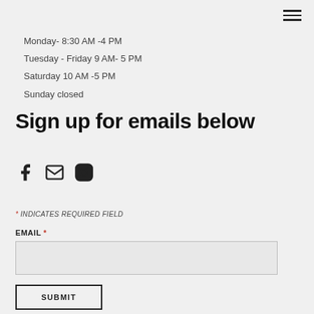☰
Monday- 8:30 AM -4 PM
Tuesday - Friday  9 AM- 5 PM
Saturday 10 AM -5 PM
Sunday closed
Sign up for emails below
[Figure (infographic): Three social media icons: Facebook f icon, envelope/email icon, and Instagram camera icon]
* INDICATES REQUIRED FIELD
EMAIL *
SUBMIT